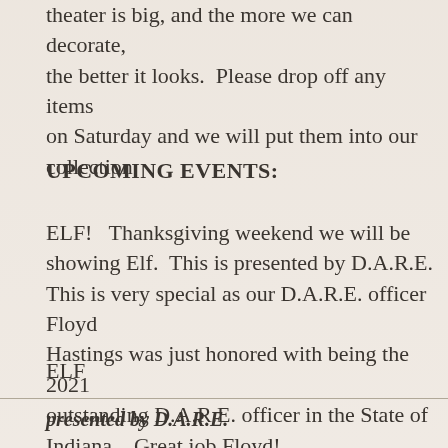theater is big, and the more we can decorate, the better it looks.  Please drop off any items on Saturday and we will put them into our collection.
UPCOMING EVENTS:
ELF!   Thanksgiving weekend we will be showing Elf.  This is presented by D.A.R.E.  This is very special as our D.A.R.E. officer Floyd Hastings was just honored with being the 2021 outstanding D.A.R.E. officer in the State of Indiana.   Great job Floyd!
ELF
presented by D.A.R.E.